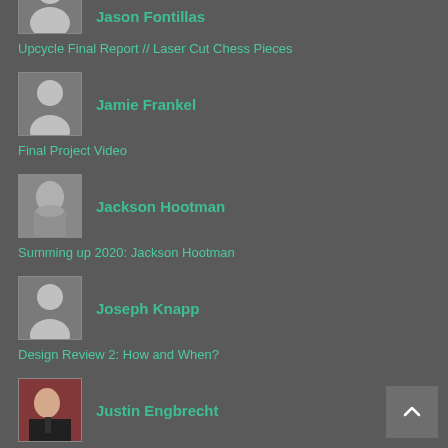Jason Fontillas
Upcycle Final Report // Laser Cut Chess Pieces
Jamie Frankel
Final Project Video
Jackson Hootman
Summing up 2020: Jackson Hootman
Joseph Knapp
Design Review 2: How and When?
Justin Engbrecht
Summing Up 2020